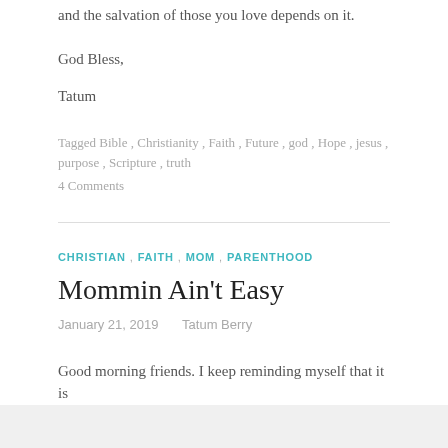and the salvation of those you love depends on it.
God Bless,
Tatum
Tagged Bible, Christianity, Faith, Future, god, Hope, jesus, purpose, Scripture, truth
4 Comments
CHRISTIAN, FAITH, MOM, PARENTHOOD
Mommin Ain't Easy
January 21, 2019   Tatum Berry
Good morning friends. I keep reminding myself that it is